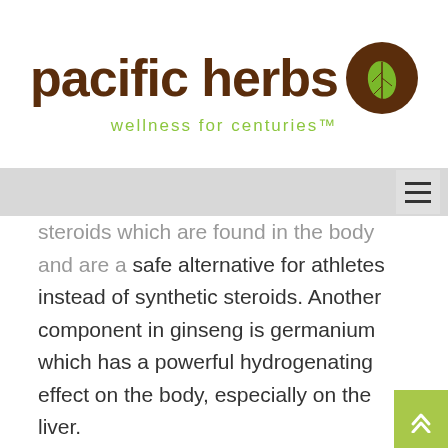[Figure (logo): Pacific Herbs logo with brown circle containing a green leaf, text 'pacific herbs' in brown bold font, and tagline 'wellness for centuries' in green]
steroids which are found in the body and are a safe alternative for athletes instead of synthetic steroids. Another component in ginseng is germanium which has a powerful hydrogenating effect on the body, especially on the liver.
In addition, there are more than eight different ginsenocides in various types of high quality ginseng which act as adrenal tonics.   Korea has a University dedicated to studying different types of ginseng and Japan, Germany, Taiwan and China all have approved ginseng in their